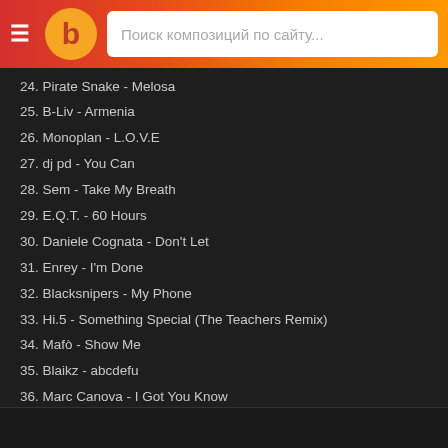Поиск композиций по сайту...
24. Pirate Snake - Melosa
25. B-Liv - Armenia
26. Monoplan - L.O.V.E
27. dj pd - You Can
28. Sem - Take My Breath
29. E.Q.T. - 60 Hours
30. Daniele Cognata - Don't Let
31. Enrey - I'm Done
32. Blacksnipers - My Phone
33. Hi.5 - Something Special (The Teachers Remix)
34. Mafò - Show Me
35. Blaikz - abcdefu
36. Marc Canova - I Got You Know
37. Bugatti Music - Bang Bang
38. LUPEX - Dance with Somebody
39. Ole Sturm - Skin
40. Ka!Ro - Children